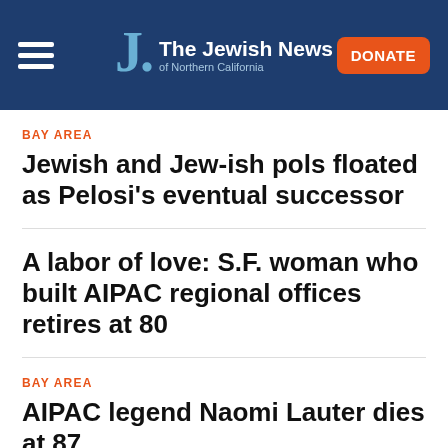The Jewish News of Northern California
BAY AREA
Jewish and Jew-ish pols floated as Pelosi's eventual successor
A labor of love: S.F. woman who built AIPAC regional offices retires at 80
BAY AREA
AIPAC legend Naomi Lauter dies at 87
POLITICS
Why are AIPAC and J Street endorsing the